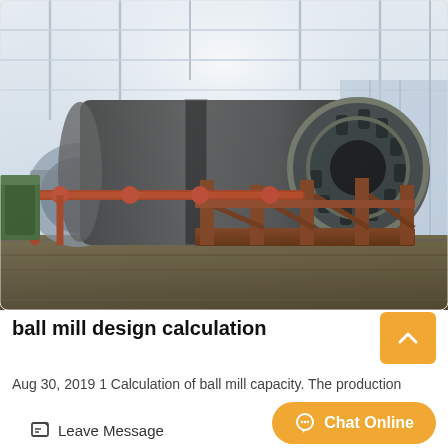[Figure (photo): Industrial ball mill equipment inside a large factory/warehouse. Two large cylindrical rotating drum mills with dark metal casing, supported on heavy rust-colored steel frames. Red-brown pipes run along the foreground. Background shows a bright industrial building with steel roof trusses.]
ball mill design calculation
Aug 30, 2019 1 Calculation of ball mill capacity. The production capacity of the ball mill is determined by...
Leave Message
Chat Online